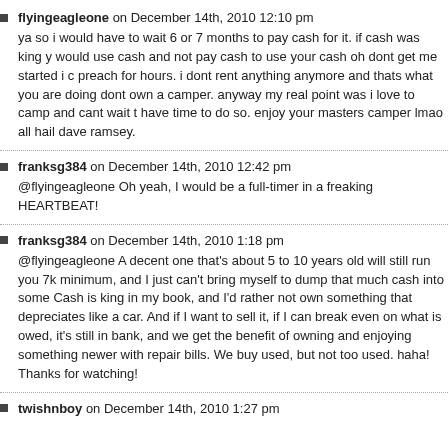flyingeagleone on December 14th, 2010 12:10 pm
ya so i would have to wait 6 or 7 months to pay cash for it. if cash was king y would use cash and not pay cash to use your cash oh dont get me started i c preach for hours. i dont rent anything anymore and thats what you are doing dont own a camper. anyway my real point was i love to camp and cant wait t have time to do so. enjoy your masters camper lmao all hail dave ramsey.
franksg384 on December 14th, 2010 12:42 pm
@flyingeagleone Oh yeah, I would be a full-timer in a freaking HEARTBEAT!
franksg384 on December 14th, 2010 1:18 pm
@flyingeagleone A decent one that's about 5 to 10 years old will still run you 7k minimum, and I just can't bring myself to dump that much cash into some Cash is king in my book, and I'd rather not own something that depreciates like a car. And if I want to sell it, if I can break even on what is owed, it's still in bank, and we get the benefit of owning and enjoying something newer with repair bills. We buy used, but not too used. haha! Thanks for watching!
twishnboy on December 14th, 2010 1:27 pm